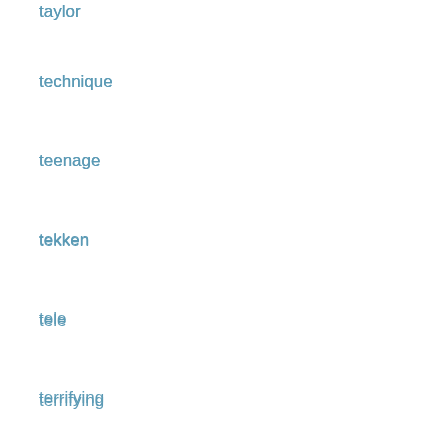taylor
technique
teenage
tekken
tele
terrifying
theresa
thimble
thomas
tiffany
tiktok
togi
tom-1501
tool